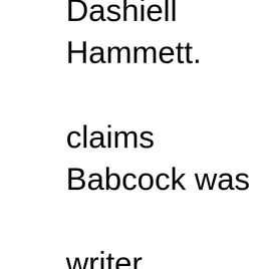Dashiell Hammett. claims Babcock was writer. Other than Trouble in 1969, Babcock's by the 1950s, Hardb